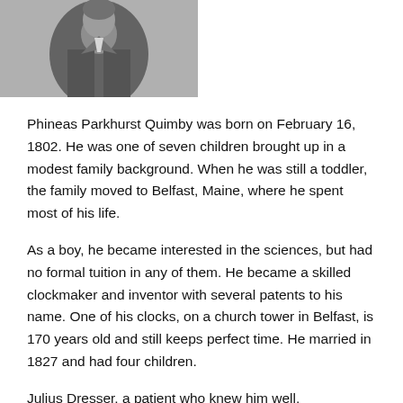[Figure (photo): Black and white photograph of Phineas Parkhurst Quimby, a man in 19th century attire, partially cropped at top of page]
Phineas Parkhurst Quimby was born on February 16, 1802. He was one of seven children brought up in a modest family background. When he was still a toddler, the family moved to Belfast, Maine, where he spent most of his life.
As a boy, he became interested in the sciences, but had no formal tuition in any of them. He became a skilled clockmaker and inventor with several patents to his name. One of his clocks, on a church tower in Belfast, is 170 years old and still keeps perfect time. He married in 1827 and had four children.
Julius Dresser, a patient who knew him well, described him as...